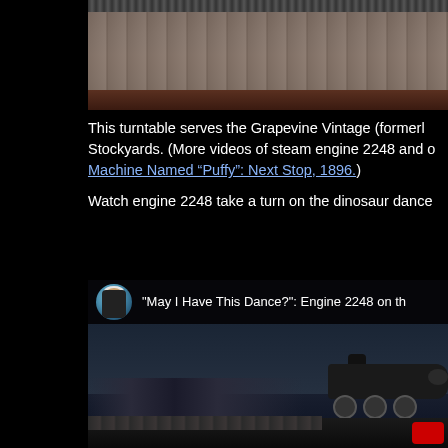[Figure (photo): Close-up photo of a railway turntable or bridge structure showing metal panels with rivets and rust, with railroad tracks visible at the top.]
This turntable serves the Grapevine Vintage (formerl Stockyards. (More videos of steam engine 2248 and o Machine Named “Puffy”: Next Stop, 1896.)
Watch engine 2248 take a turn on the dinosaur dance
[Figure (screenshot): YouTube video thumbnail screenshot showing a steam locomotive engine 2248 at night/dusk with buildings in the background. Video title overlay reads: "May I Have This Dance?": Engine 2248 on th. A circular avatar of a person in a white helmet is shown in the top left.]